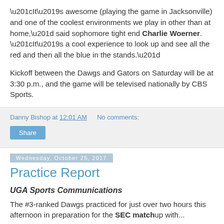“It’s awesome (playing the game in Jacksonville) and one of the coolest environments we play in other than at home,” said sophomore tight end Charlie Woerner. “It’s a cool experience to look up and see all the red and then all the blue in the stands.”
Kickoff between the Dawgs and Gators on Saturday will be at 3:30 p.m., and the game will be televised nationally by CBS Sports.
Danny Bishop at 12:01 AM   No comments:
Share
Wednesday, October 25, 2017
Practice Report
UGA Sports Communications
The #3-ranked Dawgs practiced for just over two hours this afternoon in preparation for the SEC matchup with...